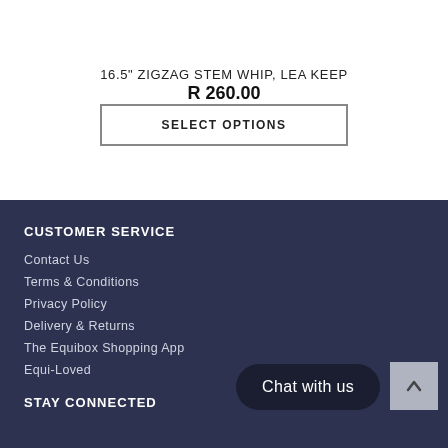16.5" ZIGZAG STEM WHIP, LEA KEEP
R 260.00
SELECT OPTIONS
CUSTOMER SERVICE
Contact Us
Terms & Conditions
Privacy Policy
Delivery & Returns
The Equibox Shopping App
Equi-Loved
STAY CONNECTED
Chat with us